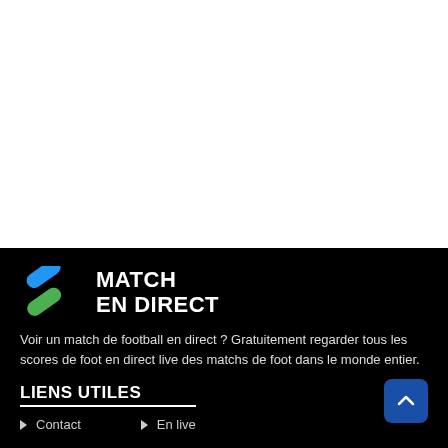[Figure (other): White blank area (main content area, empty)]
[Figure (logo): Match En Direct logo — two overlapping diagonal pill shapes in blue and green, with bold white text MATCH EN DIRECT]
Voir un match de football en direct ? Gratuitement regarder tous les scores de foot en direct live des matchs de foot dans le monde entier.
LIENS UTILES
Contact
En live